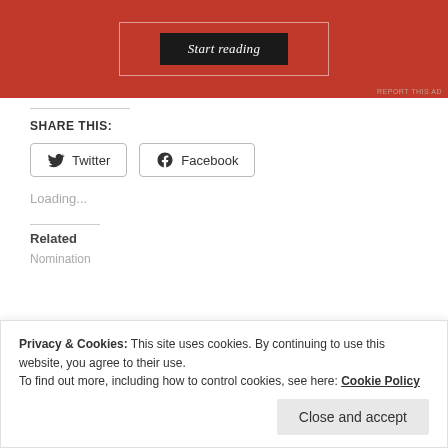[Figure (screenshot): Red advertisement banner with 'Start reading' button in black, with inner white border outline]
REPORT THIS AD
SHARE THIS:
Twitter
Facebook
Loading...
Related
Privacy & Cookies: This site uses cookies. By continuing to use this website, you agree to their use.
To find out more, including how to control cookies, see here: Cookie Policy
Close and accept
Nomination